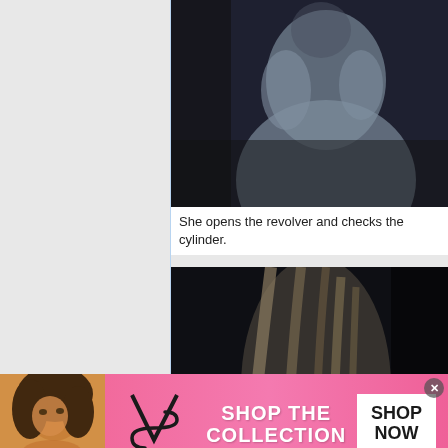[Figure (photo): Dark photo of a woman in a light blue/grey robe or garment, upper torso visible, hands near face, dimly lit scene]
She opens the revolver and checks the cylinder.
[Figure (photo): Dark photo of a woman with long blonde/light hair, viewed from behind or side, wearing a light blue garment, very dark background]
[Figure (photo): Victoria's Secret advertisement banner: model with curly hair, VS logo, text 'SHOP THE COLLECTION', button 'SHOP NOW']